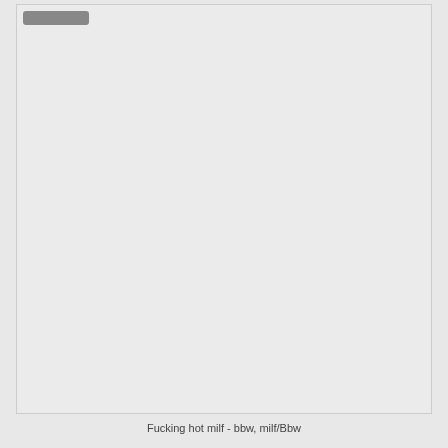[Figure (photo): Large image placeholder card with a gray rounded rectangle bar in the upper left corner, against a light gray background.]
Fucking hot milf - bbw, milf/Bbw